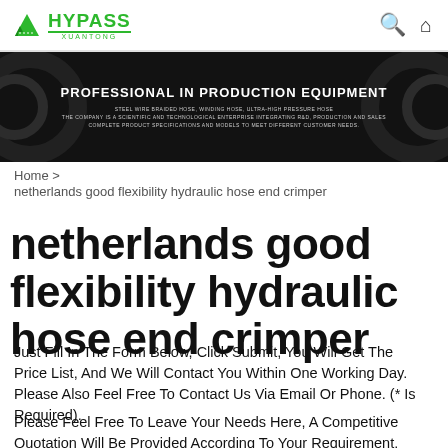[Figure (logo): Hypass Xuantong company logo with green mountain/building icon and green text]
[Figure (photo): Dark banner with metal hose/pipe background, text: PROFESSIONAL IN PRODUCTION EQUIPMENT, steel wire braided hose, winding hose, ultra-high pressure hose]
Home > netherlands good flexibility hydraulic hose end crimper
netherlands good flexibility hydraulic hose end crimper
Just Fill In The Form Below, Click Submit, You Will Get The Price List, And We Will Contact You Within One Working Day. Please Also Feel Free To Contact Us Via Email Or Phone. (* Is Required).
Please Feel Free To Leave Your Needs Here, A Competitive Quotation Will Be Provided According To Your Requirement.